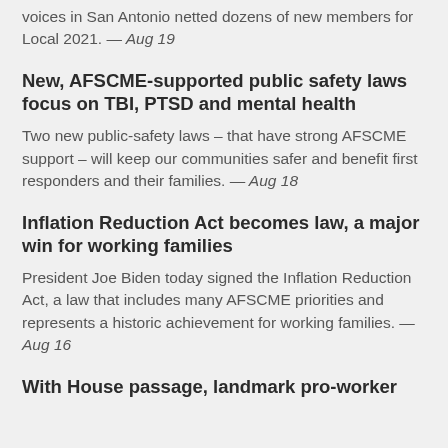voices in San Antonio netted dozens of new members for Local 2021. — Aug 19
New, AFSCME-supported public safety laws focus on TBI, PTSD and mental health
Two new public-safety laws – that have strong AFSCME support – will keep our communities safer and benefit first responders and their families. — Aug 18
Inflation Reduction Act becomes law, a major win for working families
President Joe Biden today signed the Inflation Reduction Act, a law that includes many AFSCME priorities and represents a historic achievement for working families. — Aug 16
With House passage, landmark pro-worker